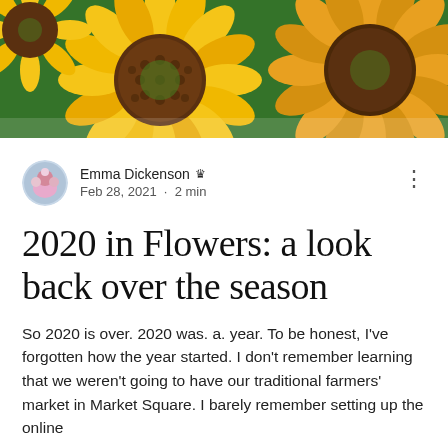[Figure (photo): Close-up photo of large yellow sunflowers with orange-brown centers against green foliage background]
Emma Dickenson 👑
Feb 28, 2021 · 2 min
2020 in Flowers: a look back over the season
So 2020 is over. 2020 was. a. year. To be honest, I've forgotten how the year started. I don't remember learning that we weren't going to have our traditional farmers' market in Market Square. I barely remember setting up the online